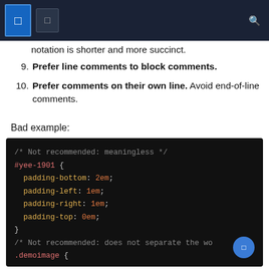notation is shorter and more succinct.
9. Prefer line comments to block comments.
10. Prefer comments on their own line. Avoid end-of-line comments.
Bad example:
[Figure (screenshot): Code block showing bad CSS example with block comments and non-separated rules. Contains: /* Not recommended: meaningless */ #yee-1901 { padding-bottom: 2em; padding-left: 1em; padding-right: 1em; padding-top: 0em; } /* Not recommended: does not separate the wo .demoimage {]